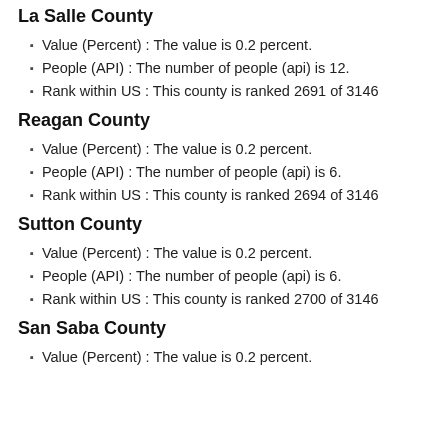La Salle County
Value (Percent) : The value is 0.2 percent.
People (API) : The number of people (api) is 12.
Rank within US : This county is ranked 2691 of 3146
Reagan County
Value (Percent) : The value is 0.2 percent.
People (API) : The number of people (api) is 6.
Rank within US : This county is ranked 2694 of 3146
Sutton County
Value (Percent) : The value is 0.2 percent.
People (API) : The number of people (api) is 6.
Rank within US : This county is ranked 2700 of 3146
San Saba County
Value (Percent) : The value is 0.2 percent.